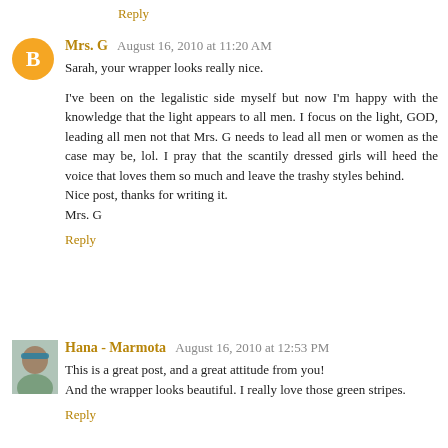Reply
Mrs. G  August 16, 2010 at 11:20 AM
Sarah, your wrapper looks really nice.

I've been on the legalistic side myself but now I'm happy with the knowledge that the light appears to all men. I focus on the light, GOD, leading all men not that Mrs. G needs to lead all men or women as the case may be, lol. I pray that the scantily dressed girls will heed the voice that loves them so much and leave the trashy styles behind.
Nice post, thanks for writing it.
Mrs. G
Reply
Hana - Marmota  August 16, 2010 at 12:53 PM
This is a great post, and a great attitude from you!
And the wrapper looks beautiful. I really love those green stripes.
Reply